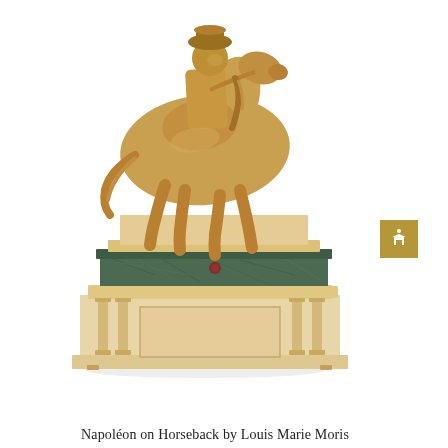[Figure (photo): A gilt bronze equestrian statue of Napoleon on horseback, mounted on a classical pedestal composed of a beige/cream marble base with Corinthian columns and a green marble band in the middle tier. The sculpture shows Napoleon in military uniform atop a rearing horse.]
Napoléon on Horseback by Louis Marie Moris